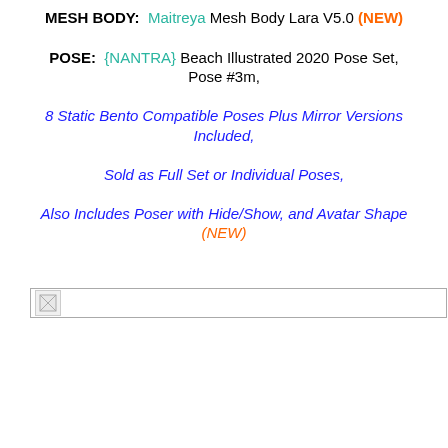MESH BODY: Maitreya Mesh Body Lara V5.0 (NEW)
POSE: {NANTRA} Beach Illustrated 2020 Pose Set, Pose #3m, 8 Static Bento Compatible Poses Plus Mirror Versions Included, Sold as Full Set or Individual Poses, Also Includes Poser with Hide/Show, and Avatar Shape (NEW)
[Figure (photo): Broken image placeholder icon at bottom of page]